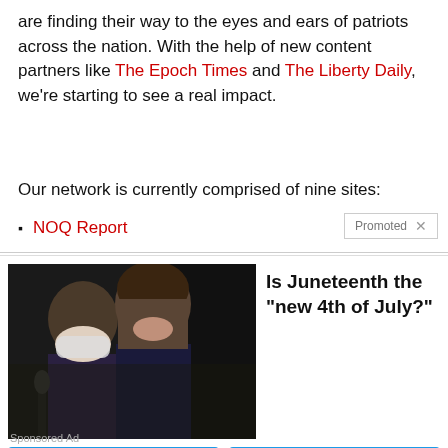are finding their way to the eyes and ears of patriots across the nation. With the help of new content partners like The Epoch Times and The Liberty Daily, we're starting to see a real impact.
Our network is currently comprised of nine sites:
NOQ Report
[Figure (screenshot): Promoted advertisement block showing a photo of two political figures (one wearing a mask) and the question 'Is Juneteenth the "new 4th of July?"' with Yes, No, and Not sure buttons. Labeled 'Sponsored Ad'.]